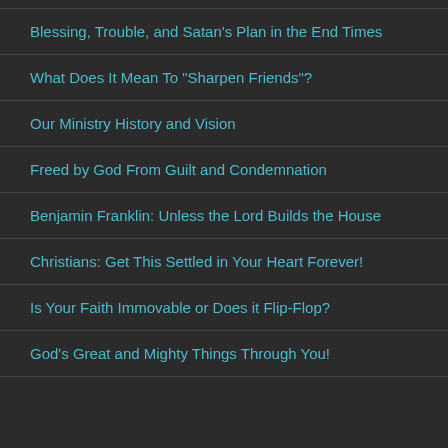Blessing, Trouble, and Satan's Plan in the End Times
What Does It Mean To "Sharpen Friends"?
Our Ministry History and Vision
Freed by God From Guilt and Condemnation
Benjamin Franklin: Unless the Lord Builds the House
Christians: Get This Settled in Your Heart Forever!
Is Your Faith Immovable or Does it Flip-Flop?
God's Great and Mighty Things Through You!